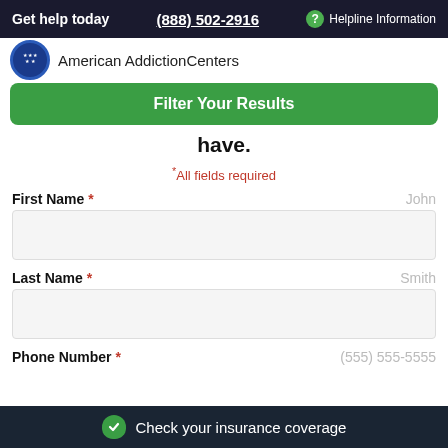Get help today  (888) 502-2916  ? Helpline Information
American AddictionCenters
Filter Your Results
have.
*All fields required
First Name *  John
Last Name *  Smith
Phone Number *  (555) 555-5555
Check your insurance coverage